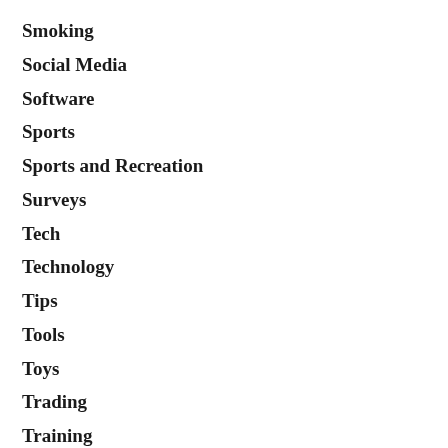Smoking
Social Media
Software
Sports
Sports and Recreation
Surveys
Tech
Technology
Tips
Tools
Toys
Trading
Training
Travel and Leisure
Uncategorized